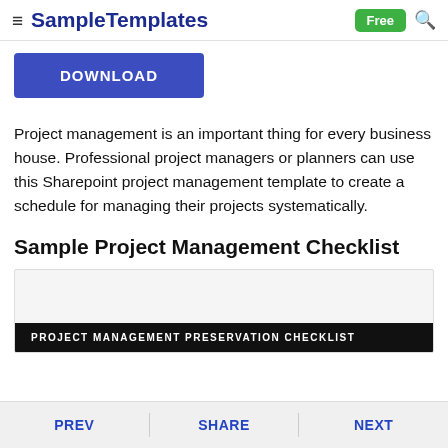≡ SampleTemplates | Free 🔍
[Figure (other): Blue DOWNLOAD button]
Project management is an important thing for every business house. Professional project managers or planners can use this Sharepoint project management template to create a schedule for managing their projects systematically.
Sample Project Management Checklist
[Figure (screenshot): Preview of PROJECT MANAGEMENT PRESERVATION CHECKLIST document thumbnail with black header bar]
PREV   SHARE   NEXT